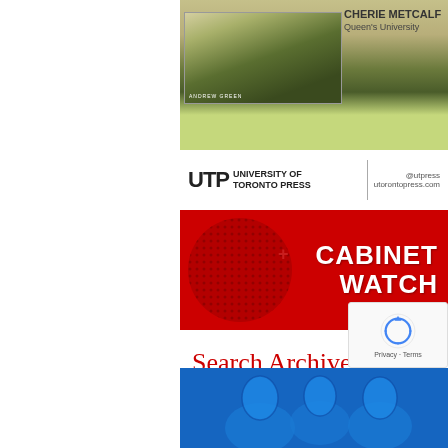[Figure (advertisement): University of Toronto Press book advertisement featuring CHERIE METCALF, Queen's University. Shows book cover with landscape photo and author Andrew Green. UTP logo with @utpress and utorontopress.com]
[Figure (logo): Cabinet Watch banner - red background with dot-pattern globe, white bold text reading CABINET WATCH]
Search Archive
BY MONTH
Select Month dropdown
BY KEYWORD
Search
[Figure (illustration): Blue banner at bottom, partially visible, appears to be a Cabinet Watch related graphic with illustrated faces in blue tone]